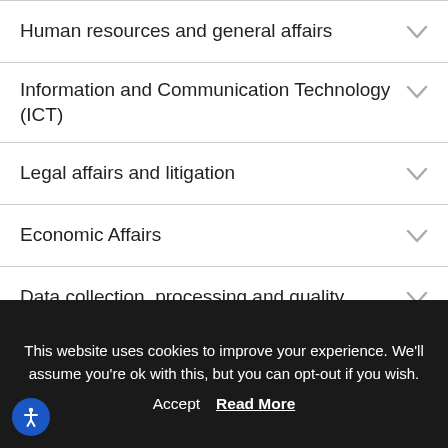Human resources and general affairs
Information and Communication Technology (ICT)
Legal affairs and litigation
Economic Affairs
Data collection, processing and quality
This website uses cookies to improve your experience. We'll assume you're ok with this, but you can opt-out if you wish.
Accept  Read More